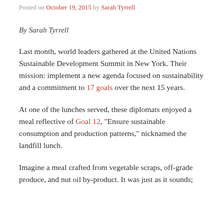Posted on October 19, 2015 by Sarah Tyrrell
By Sarah Tyrrell
Last month, world leaders gathered at the United Nations Sustainable Development Summit in New York. Their mission: implement a new agenda focused on sustainability and a commitment to 17 goals over the next 15 years.
At one of the lunches served, these diplomats enjoyed a meal reflective of Goal 12, “Ensure sustainable consumption and production patterns,” nicknamed the landfill lunch.
Imagine a meal crafted from vegetable scraps, off-grade produce, and nut oil by-product. It was just as it sounds;